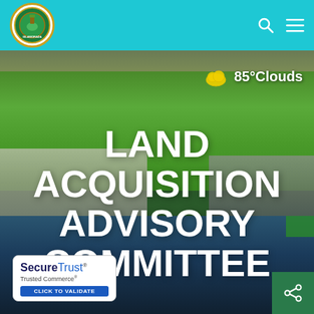[Figure (logo): Islamorada Village of Islands municipal seal/logo - circular emblem with green and gold border]
[Figure (other): Navigation icons - search magnifying glass and hamburger menu in white on teal header]
[Figure (photo): Aerial photograph of Islamorada, Florida showing green recreational fields, marina with boats, waterway, palm trees, and buildings. Weather widget shows 85 degrees Clouds.]
85°Clouds
LAND ACQUISITION ADVISORY COMMITTEE
[Figure (logo): SecureTrust Trusted Commerce badge - white box with blue text and blue CLICK TO VALIDATE button]
[Figure (other): Green share button with share icon in bottom right corner]